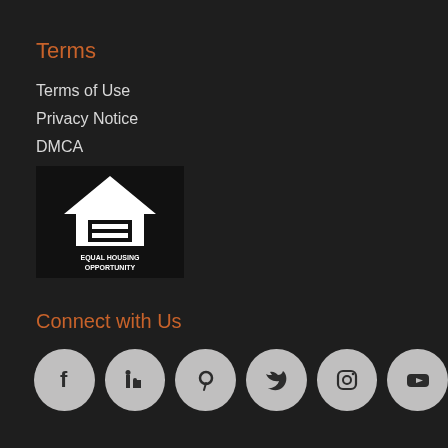Terms
Terms of Use
Privacy Notice
DMCA
[Figure (logo): Equal Housing Opportunity logo — black square with white house icon and text EQUAL HOUSING OPPORTUNITY]
Connect with Us
[Figure (infographic): Row of six social media icon circles (grey): Facebook, LinkedIn, Pinterest, Twitter, Instagram, YouTube]